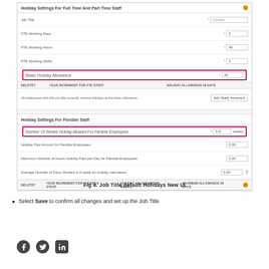[Figure (screenshot): Screenshot of a UI showing Holiday Settings for Full Time And Part Time Staff and Holiday Settings for Flexible Staff. Fields include Job Title, FTE Working Days, FTE Working Hours, FTE Working Shifts, Basic Holiday Allowance (highlighted in pink border, value 29), a table with YEAR INCREMENT FOR FTE STAFF and HOLIDAY ALLOWANCE IN DAYS columns, an Add Yearly Increment button, then Holiday Settings For Flexible Staff section with Number Of Weeks Holiday Allowed For Flexible Employees (highlighted, value 5.8, weeks), Holiday Pay Amount for Flexible Employees (0.00), Maximum Number of Hours Holiday Paid per Day for Flexible Employees (0.00), Average Number of Days Worked in A week for holiday calculation (0.00), and a table footer row.]
Fig 4. Job Title default Holidays New UI
Select Save to confirm all changes and set up the Job Title